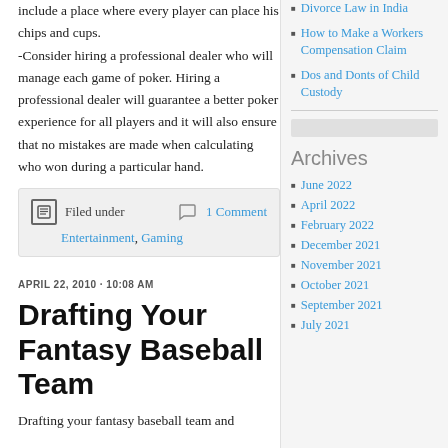include a place where every player can place his chips and cups. -Consider hiring a professional dealer who will manage each game of poker. Hiring a professional dealer will guarantee a better poker experience for all players and it will also ensure that no mistakes are made when calculating who won during a particular hand.
Filed under  1 Comment  Entertainment, Gaming
APRIL 22, 2010 · 10:08 AM
Drafting Your Fantasy Baseball Team
Drafting your fantasy baseball team and
Divorce Law in India
How to Make a Workers Compensation Claim
Dos and Donts of Child Custody
Archives
June 2022
April 2022
February 2022
December 2021
November 2021
October 2021
September 2021
July 2021